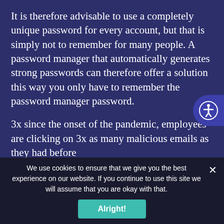It is therefore advisable to use a completely unique password for every account, but that is simply not to remember for many people. A password manager that automatically generates strong passwords can therefore offer a solution this way you only have to remember the password manager password.
3x since the onset of the pandemic, employees are clicking on 3x as many malicious emails as they had before
46% of Data leaks Data leaks or other hazards due to carelessness or negligence or on the part of
We use cookies to ensure that we give you the best experience on our website. If you continue to use this site we will assume that you are okay with that.
Alright!